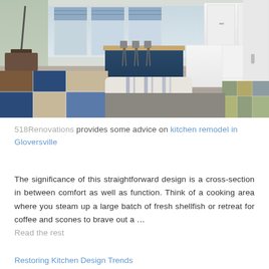[Figure (photo): Interior photo of an open-plan kitchen and living area. In the foreground are sofa cushions with a plaid/checked pattern in blue, brown, and white. The kitchen shows a navy blue island with bar stools, white cabinetry, Roman shades on windows, and hardwood-style flooring. A plaid armchair is visible on the right.]
518Renovations provides some advice on kitchen remodel in Gloversville
The significance of this straightforward design is a cross-section in between comfort as well as function. Think of a cooking area where you steam up a large batch of fresh shellfish or retreat for coffee and scones to brave out a ... Read the rest
Restoring Kitchen Design Trends